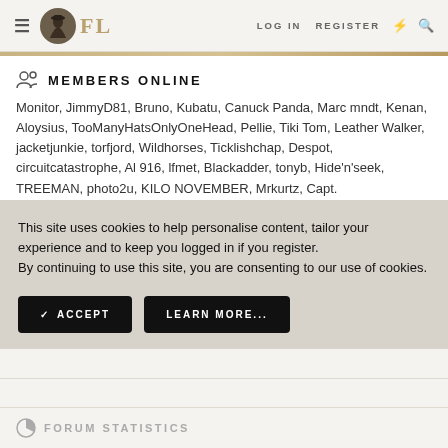FL | LOG IN | REGISTER
MEMBERS ONLINE
Monitor, JimmyD81, Bruno, Kubatu, Canuck Panda, Marc mndt, Kenan, Aloysius, TooManyHatsOnlyOneHead, Pellie, Tiki Tom, Leather Walker, jacketjunkie, torfjord, Wildhorses, Ticklishchap, Despot, circuitcatastrophe, Al 916, lfmet, Blackadder, tonyb, Hide'n'seek, TREEMAN, photo2u, KILO NOVEMBER, Mrkurtz, Capt.
This site uses cookies to help personalise content, tailor your experience and to keep you logged in if you register.
By continuing to use this site, you are consenting to our use of cookies.
✓ ACCEPT | LEARN MORE...
FORUM STATISTICS